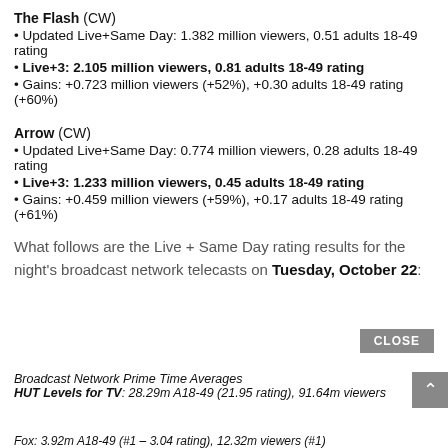The Flash (CW)
• Updated Live+Same Day: 1.382 million viewers, 0.51 adults 18-49 rating
• Live+3: 2.105 million viewers, 0.81 adults 18-49 rating
• Gains: +0.723 million viewers (+52%), +0.30 adults 18-49 rating (+60%)
Arrow (CW)
• Updated Live+Same Day: 0.774 million viewers, 0.28 adults 18-49 rating
• Live+3: 1.233 million viewers, 0.45 adults 18-49 rating
• Gains: +0.459 million viewers (+59%), +0.17 adults 18-49 rating (+61%)
What follows are the Live + Same Day rating results for the night's broadcast network telecasts on Tuesday, October 22:
Broadcast Network Prime Time Averages
HUT Levels for TV: 28.29m A18-49 (21.95 rating), 91.64m viewers
Fox: 3.92m A18-49 (#1 – 3.04 rating), 12.32m viewers (#1)